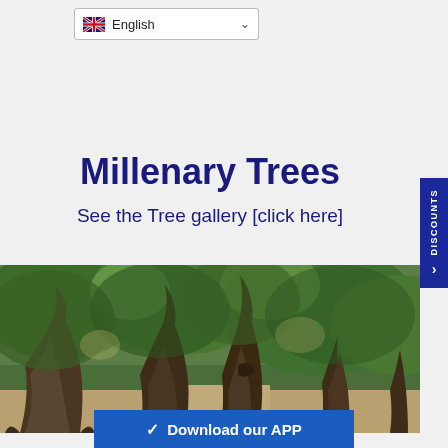[Figure (screenshot): Language selector dropdown showing UK flag and 'English' text with a chevron]
Millenary Trees
See the Tree gallery [click here]
[Figure (photo): Large ancient gnarled olive trees with thick twisted trunks in a grove, green foliage visible in background]
✓ Download our APP